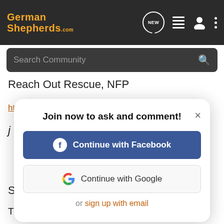[Figure (screenshot): GermanShepherds.com navigation bar with logo, NEW chat bubble icon, list icon, user icon, and vertical dots menu icon on dark background]
Search Community
Reach Out Rescue, NFP
http://www.reachoutrescuenfp.org
Join now to ask and comment!
Continue with Facebook
Continue with Google
or sign up with email
This transport will be monitored.